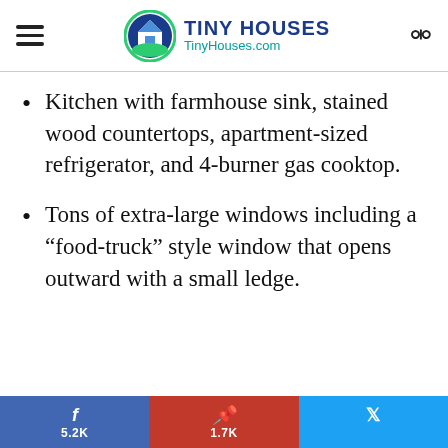TINY HOUSES TinyHouses.com
Kitchen with farmhouse sink, stained wood countertops, apartment-sized refrigerator, and 4-burner gas cooktop.
Tons of extra-large windows including a “food-truck” style window that opens outward with a small ledge.
f 5.2K  | p 1.7K  | t